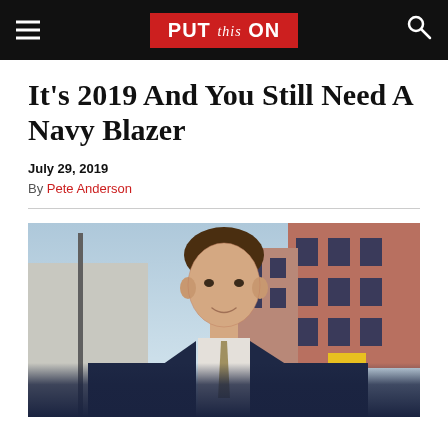PUT this ON
It's 2019 And You Still Need A Navy Blazer
July 29, 2019
By Pete Anderson
[Figure (photo): Man wearing a navy blazer, white shirt, and tie, standing outdoors on a city street with brick buildings in the background.]